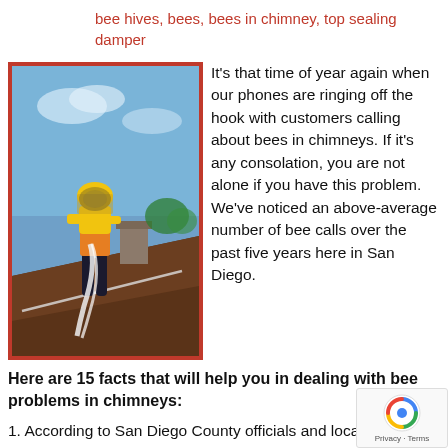bee hives, bees, bees in chimney, top sealing damper
[Figure (photo): A person in a yellow protective suit and bee veil working on a rooftop near a chimney, handling white material, with a blue sky background.]
It’s that time of year again when our phones are ringing off the hook with customers calling about bees in chimneys. If it’s any consolation, you are not alone if you have this problem. We’ve noticed an above-average number of bee calls over the past five years here in San Diego.
Here are 15 facts that will help you in dealing with bee problems in chimneys:
1. According to San Diego County officials and local